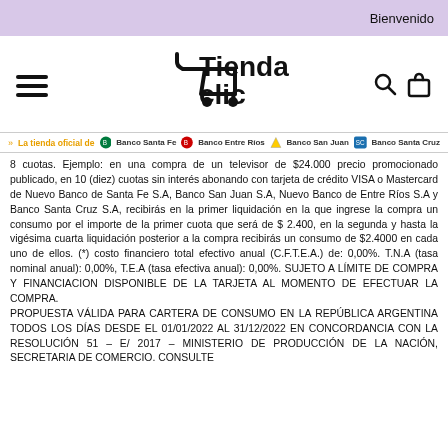Bienvenido
[Figure (logo): Tienda Clic logo with shopping cart icon, hamburger menu, search icon, and bag icon]
La tienda oficial de | Banco Santa Fe | Banco Entre Ríos | Banco San Juan | Banco Santa Cruz
8 cuotas. Ejemplo: en una compra de un televisor de $24.000 precio promocionado publicado, en 10 (diez) cuotas sin interés abonando con tarjeta de crédito VISA o Mastercard de Nuevo Banco de Santa Fe S.A, Banco San Juan S.A, Nuevo Banco de Entre Ríos S.A y Banco Santa Cruz S.A, recibirás en la primer liquidación en la que ingrese la compra un consumo por el importe de la primer cuota que será de $ 2.400, en la segunda y hasta la vigésima cuarta liquidación posterior a la compra recibirás un consumo de $2.4000 en cada uno de ellos. (*) costo financiero total efectivo anual (C.F.T.E.A.) de: 0,00%. T.N.A (tasa nominal anual): 0,00%, T.E.A (tasa efectiva anual): 0,00%. SUJETO A LÍMITE DE COMPRA Y FINANCIACION DISPONIBLE DE LA TARJETA AL MOMENTO DE EFECTUAR LA COMPRA.
PROPUESTA VÁLIDA PARA CARTERA DE CONSUMO EN LA REPÚBLICA ARGENTINA TODOS LOS DÍAS DESDE EL 01/01/2022 AL 31/12/2022 EN CONCORDANCIA CON LA RESOLUCIÓN 51 – E/ 2017 – MINISTERIO DE PRODUCCIÓN DE LA NACIÓN, SECRETARIA DE COMERCIO. CONSULTE